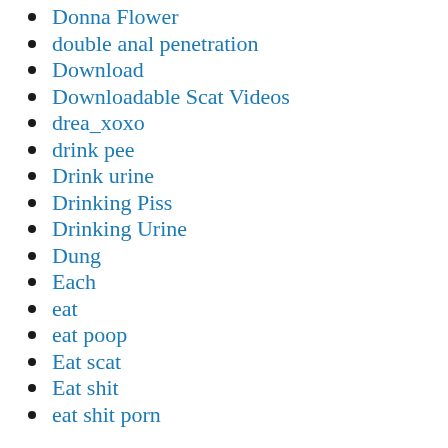Donna Flower
double anal penetration
Download
Downloadable Scat Videos
drea_xoxo
drink pee
Drink urine
Drinking Piss
Drinking Urine
Dung
Each
eat
eat poop
Eat scat
Eat shit
eat shit porn